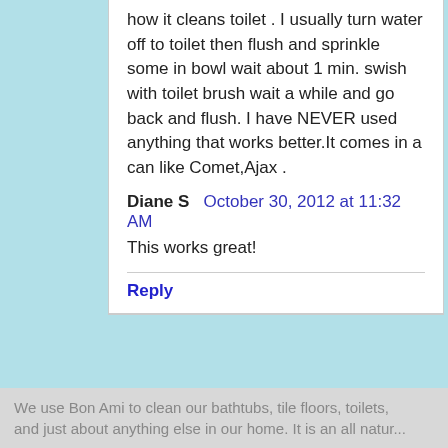how it cleans toilet . I usually turn water off to toilet then flush and sprinkle some in bowl wait about 1 min. swish with toilet brush wait a while and go back and flush. I have NEVER used anything that works better.It comes in a can like Comet,Ajax .
Diane S  October 30, 2012 at 11:32 AM
This works great!
Reply
Lily and Ellie  August 3, 2012 at 11:25 AM
@Ashley Autry
Hi Ashley,
We use Bon Ami to clean our bathtubs, tile floors, toilets, and just about anything else in our home. It is an all nature